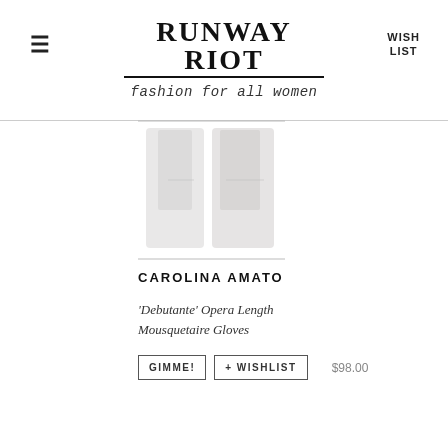RUNWAY RIOT — fashion for all women — WISH LIST
[Figure (photo): Product image of Opera Length Mousquetaire Gloves in light gray/white color, shown folded]
CAROLINA AMATO
'Debutante' Opera Length Mousquetaire Gloves
GIMME!  + WISHLIST  $98.00